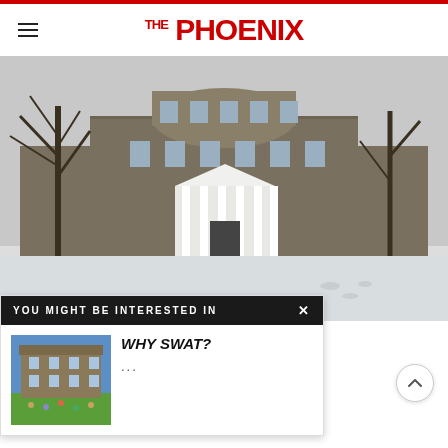THE PHOENIX
[Figure (photo): Winter photograph of a large stone collegiate building (Swarthmore College) with snow on the ground and bare trees in the foreground. Classical white columned portico at the entrance.]
YOU MIGHT BE INTERESTED IN  ×
[Figure (photo): Thumbnail photo of a Swarthmore College building with people on the green lawn in sunny weather.]
WHY SWAT?
...
DATING AT SWAT